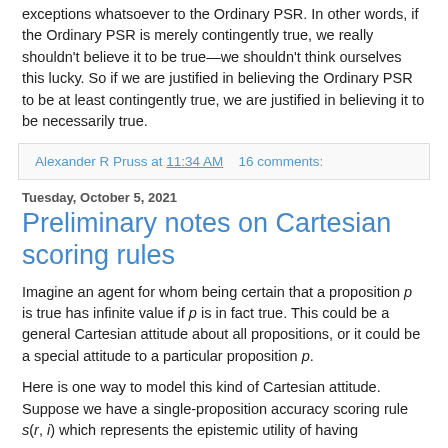exceptions whatsoever to the Ordinary PSR. In other words, if the Ordinary PSR is merely contingently true, we really shouldn't believe it to be true—we shouldn't think ourselves this lucky. So if we are justified in believing the Ordinary PSR to be at least contingently true, we are justified in believing it to be necessarily true.
Alexander R Pruss at 11:34 AM   16 comments:
Tuesday, October 5, 2021
Preliminary notes on Cartesian scoring rules
Imagine an agent for whom being certain that a proposition p is true has infinite value if p is in fact true. This could be a general Cartesian attitude about all propositions, or it could be a special attitude to a particular proposition p.
Here is one way to model this kind of Cartesian attitude. Suppose we have a single-proposition accuracy scoring rule s(r, i) which represents the epistemic utility of having